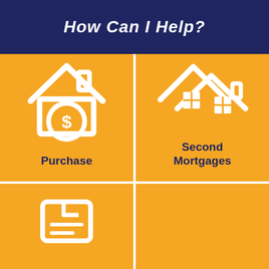How Can I Help?
[Figure (infographic): Orange tile with white house icon containing a dollar sign circle, labeled Purchase]
[Figure (infographic): Orange tile with white double-roof house icon, labeled Second Mortgages]
[Figure (infographic): Orange tile with white document/refinance icon, partially visible at bottom]
[Figure (infographic): Orange tile, partially visible at bottom right]